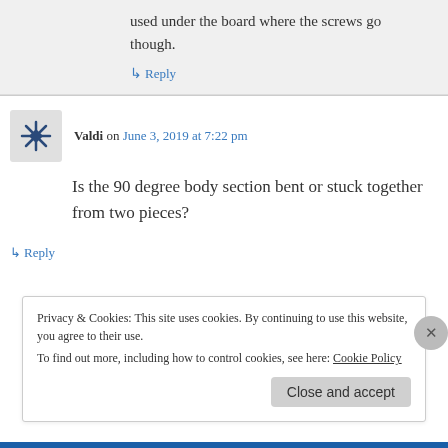used under the board where the screws go though.
↳ Reply
Valdi on June 3, 2019 at 7:22 pm
Is the 90 degree body section bent or stuck together from two pieces?
↳ Reply
Privacy & Cookies: This site uses cookies. By continuing to use this website, you agree to their use.
To find out more, including how to control cookies, see here: Cookie Policy
Close and accept